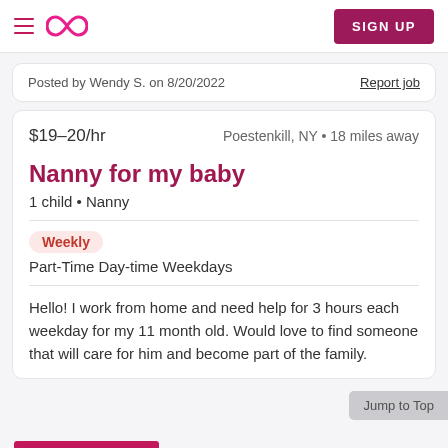Sittercity navigation header with hamburger menu, logo, and SIGN UP button
Posted by Wendy S. on 8/20/2022
Report job
$19–20/hr
Poestenkill, NY • 18 miles away
Nanny for my baby
1 child • Nanny
Weekly
Part-Time Day-time Weekdays
Hello! I work from home and need help for 3 hours each weekday for my 11 month old. Would love to find someone that will care for him and become part of the family.